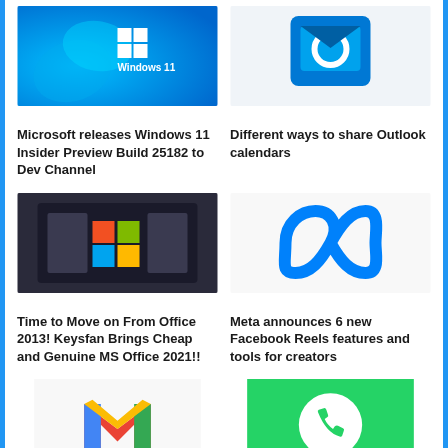[Figure (screenshot): Windows 11 logo on blue background]
Microsoft releases Windows 11 Insider Preview Build 25182 to Dev Channel
[Figure (logo): Microsoft Outlook logo on blue background]
Different ways to share Outlook calendars
[Figure (photo): Microsoft logo on a building/screen]
Time to Move on From Office 2013! Keysfan Brings Cheap and Genuine MS Office 2021!!
[Figure (logo): Meta logo (infinity symbol) in blue]
Meta announces 6 new Facebook Reels features and tools for creators
[Figure (logo): Gmail logo - colorful M]
Gmail for Android is now
[Figure (logo): WhatsApp logo on green background]
New Windows-native